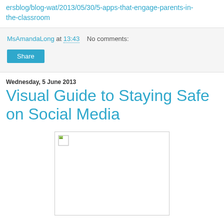ersblog/blog-wat/2013/05/30/5-apps-that-engage-parents-in-the-classroom
MsAmandaLong at 13:43   No comments:
Share
Wednesday, 5 June 2013
Visual Guide to Staying Safe on Social Media
[Figure (photo): Broken image placeholder for visual guide to staying safe on social media infographic]